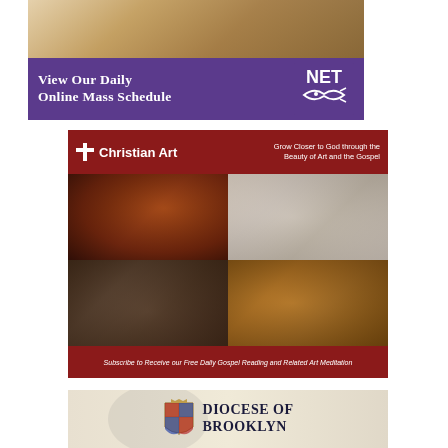[Figure (illustration): NET TV advertisement banner with purple background showing 'View our Daily Online Mass Schedule' with NET fish logo, above a photo of a Catholic Mass ceremony with golden candlesticks]
[Figure (illustration): Christian Art advertisement with dark red header showing logo and tagline 'Grow Closer to God through the Beauty of Art and the Gospel', grid of 4 religious paintings, and footer text 'Subscribe to Receive our Free Daily Gospel Reading and Related Art Meditation']
[Figure (illustration): Diocese of Brooklyn advertisement with light beige background showing the diocesan seal/emblem and text 'DIOCESE OF BROOKLYN']